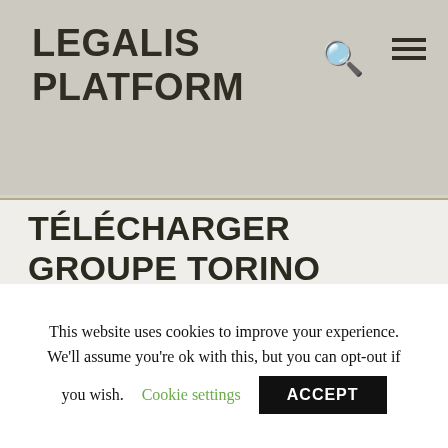LEGALIS PLATFORM
TÉLÉCHARGER GROUPE TORINO PALERMO CATANIA 2013 VIRAGE EL HABLA MP3
This website uses cookies to improve your experience. We'll assume you're ok with this, but you can opt-out if you wish. Cookie settings ACCEPT